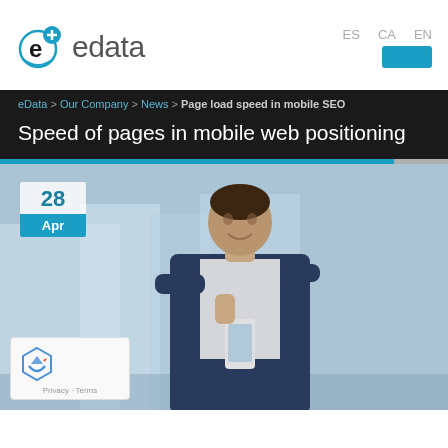edata logo with ES CA EN language links and contact button
eData > Our Company > News > Page load speed in mobile SEO
Speed of pages in mobile web positioning
[Figure (photo): Man in suit looking at smartphone, date badge showing 28 Apr, reCAPTCHA widget overlay in bottom left]